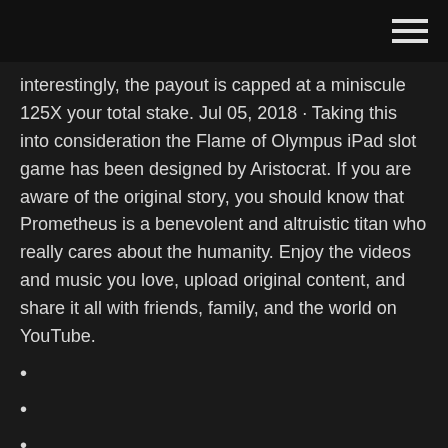interestingly, the payout is capped at a miniscule 125X your total stake. Jul 05, 2018 · Taking this into consideration the Flame of Olympus iPad slot game has been designed by Aristocrat. If you are aware of the original story, you should know that Prometheus is a benevolent and altruistic titan who really cares about the humanity. Enjoy the videos and music you love, upload original content, and share it all with friends, family, and the world on YouTube.
Vild björn lax kör slot maskin